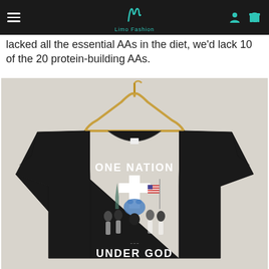Limo Fashion
lacked all the essential AAs in the diet, we'd lack 10 of the 20 protein-building AAs.
[Figure (photo): A black t-shirt on a wooden hanger displayed against a light background. The shirt has a graphic design reading 'ONE NATION' at the top, a white cross in the center, imagery of basketball players, the Grizzlies bear logo, Statue of Liberty, and American flag, with the text 'UNDER GOD' at the bottom.]